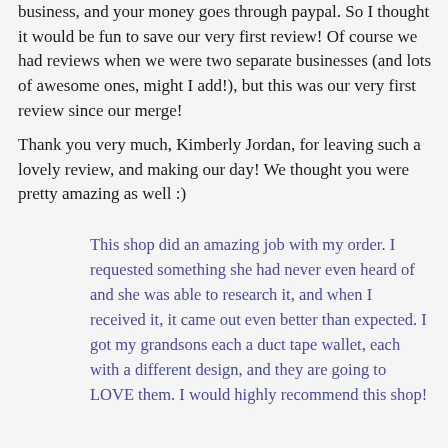business, and your money goes through paypal. So I thought it would be fun to save our very first review! Of course we had reviews when we were two separate businesses (and lots of awesome ones, might I add!), but this was our very first review since our merge!
Thank you very much, Kimberly Jordan, for leaving such a lovely review, and making our day! We thought you were pretty amazing as well :)
This shop did an amazing job with my order. I requested something she had never even heard of and she was able to research it, and when I received it, it came out even better than expected. I got my grandsons each a duct tape wallet, each with a different design, and they are going to LOVE them. I would highly recommend this shop!